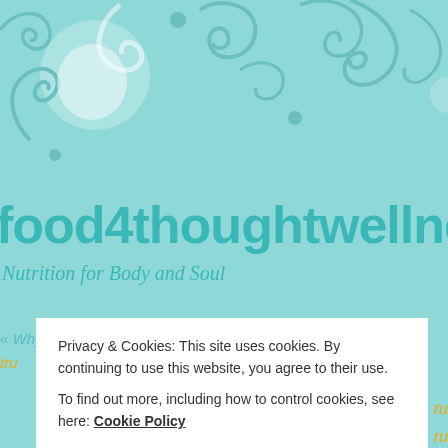[Figure (illustration): Decorative teal swirl/curl patterns on light teal background at top of page]
food4thoughtwellne
Nutrition for Body and Soul
« Why do people feel so much younger from consuming
Privacy & Cookies: This site uses cookies. By continuing to use this website, you agree to their use. To find out more, including how to control cookies, see here: Cookie Policy
Close and accept